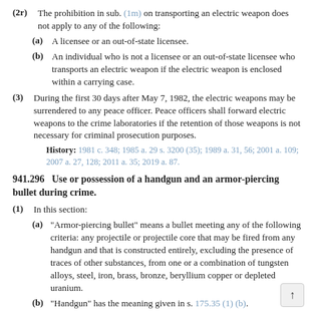(2r) The prohibition in sub. (1m) on transporting an electric weapon does not apply to any of the following:
(a) A licensee or an out-of-state licensee.
(b) An individual who is not a licensee or an out-of-state licensee who transports an electric weapon if the electric weapon is enclosed within a carrying case.
(3) During the first 30 days after May 7, 1982, the electric weapons may be surrendered to any peace officer. Peace officers shall forward electric weapons to the crime laboratories if the retention of those weapons is not necessary for criminal prosecution purposes.
History: 1981 c. 348; 1985 a. 29 s. 3200 (35); 1989 a. 31, 56; 2001 a. 109; 2007 a. 27, 128; 2011 a. 35; 2019 a. 87.
941.296 Use or possession of a handgun and an armor-piercing bullet during crime.
(1) In this section:
(a) “Armor-piercing bullet” means a bullet meeting any of the following criteria: any projectile or projectile core that may be fired from any handgun and that is constructed entirely, excluding the presence of traces of other substances, from one or a combination of tungsten alloys, steel, iron, brass, bronze, beryllium copper or depleted uranium.
(b) “Handgun” has the meaning given in s. 175.35 (1) (b).